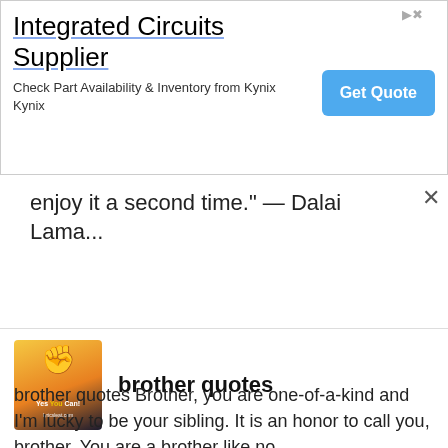[Figure (screenshot): Advertisement banner for Integrated Circuits Supplier - Kynix with Get Quote button]
enjoy it a second time." — Dalai Lama...
brother quotes
[Figure (illustration): Thumbnail image with fist raised, Yes You Can text, sunset background, lyricsleat.com]
brother quotes Brother, you are one-of-a-kind and I'm lucky to be your sibling. It is an honor to call you, brother. You are a brother like no...
best friend birthday quotes
[Figure (illustration): Thumbnail image with fist raised, Yes You Can text, sunset background, lyricsleat.com]